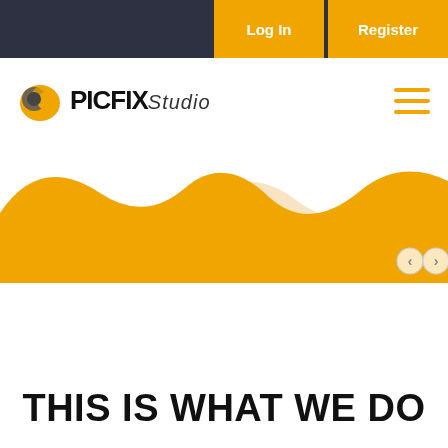Log In | Register
[Figure (logo): PICFIX Studio logo with orange/grey circular icon and bold uppercase PICFIX text followed by italic Studio wordmark, with hamburger menu icon on the right]
[Figure (illustration): Decorative wave illustration with orange and cream/beige overlapping hills/waves across the full width, with left/right navigation arrows in bottom right corner]
THIS IS WHAT WE DO